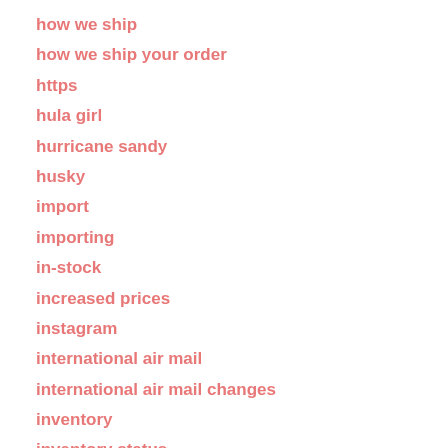how we ship
how we ship your order
https
hula girl
hurricane sandy
husky
import
importing
in-stock
increased prices
instagram
international air mail
international air mail changes
inventory
inventory status